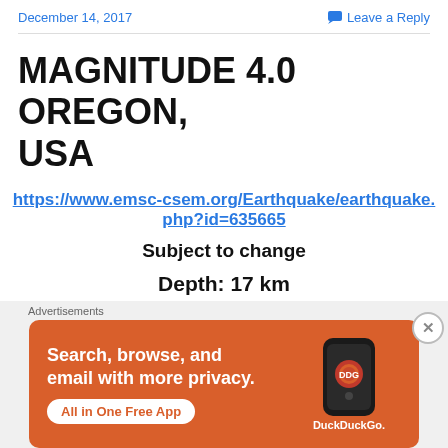December 14, 2017   Leave a Reply
MAGNITUDE 4.0 OREGON, USA
https://www.emsc-csem.org/Earthquake/earthquake.php?id=635665
Subject to change
Depth: 17 km
[Figure (screenshot): DuckDuckGo advertisement banner: orange background with text 'Search, browse, and email with more privacy. All in One Free App' and DuckDuckGo logo with phone graphic.]